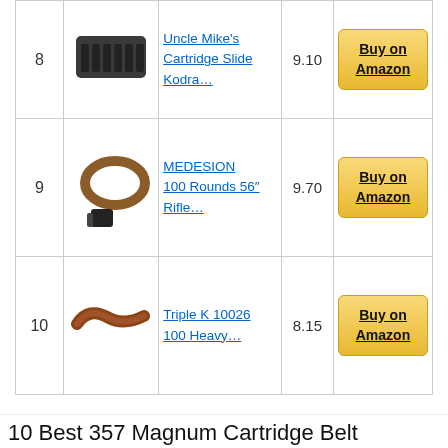| Rank | Image | Product | Score | Buy |
| --- | --- | --- | --- | --- |
| 8 | [image] | Uncle Mike's Cartridge Slide Kodra… | 9.10 | Buy on Amazon |
| 9 | [image] | MEDESION 100 Rounds 56" Rifle… | 9.70 | Buy on Amazon |
| 10 | [image] | Triple K 10026 100 Heavy… | 8.15 | Buy on Amazon |
10 Best 357 Magnum Cartridge Belt